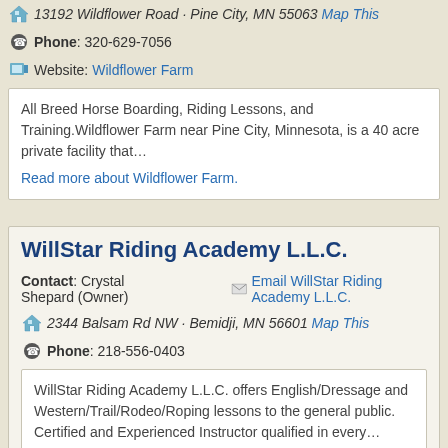13192 Wildflower Road · Pine City, MN 55063 Map This
Phone: 320-629-7056
Website: Wildflower Farm
All Breed Horse Boarding, Riding Lessons, and Training.Wildflower Farm near Pine City, Minnesota, is a 40 acre private facility that…
Read more about Wildflower Farm.
WillStar Riding Academy L.L.C.
Contact: Crystal Shepard (Owner)
Email WillStar Riding Academy L.L.C.
2344 Balsam Rd NW · Bemidji, MN 56601 Map This
Phone: 218-556-0403
WillStar Riding Academy L.L.C. offers English/Dressage and Western/Trail/Rodeo/Roping lessons to the general public. Certified and Experienced Instructor qualified in every…
Read more about WillStar Riding Academy L.L.C. .
Win-Kell Equestrian Center